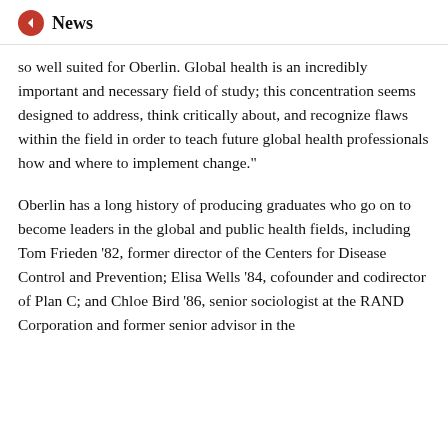News
so well suited for Oberlin. Global health is an incredibly important and necessary field of study; this concentration seems designed to address, think critically about, and recognize flaws within the field in order to teach future global health professionals how and where to implement change.”
Oberlin has a long history of producing graduates who go on to become leaders in the global and public health fields, including Tom Frieden ’82, former director of the Centers for Disease Control and Prevention; Elisa Wells ’84, cofounder and codirector of Plan C; and Chloe Bird ’86, senior sociologist at the RAND Corporation and former senior advisor in the